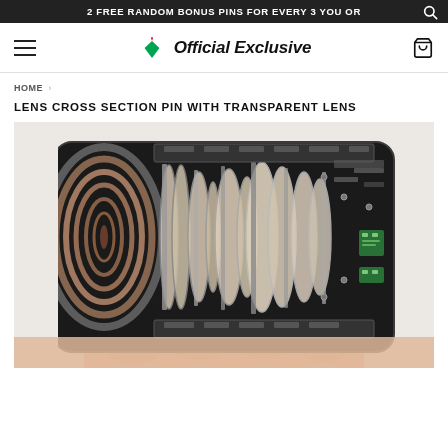2 FREE RANDOM BONUS PINS FOR EVERY 3 YOU OR
Official Exclusive
HOME › LENS CROSS SECTION PIN WITH TRANSPARENT LENS
LENS CROSS SECTION PIN WITH TRANSPARENT LENS
[Figure (photo): Close-up photo of a lens cross section enamel pin held in someone's hand. The pin shows a detailed cross-section view of a camera lens with metallic silver elements, black outlines, transparent lens glass elements, and small green circuit-like details on the right side.]